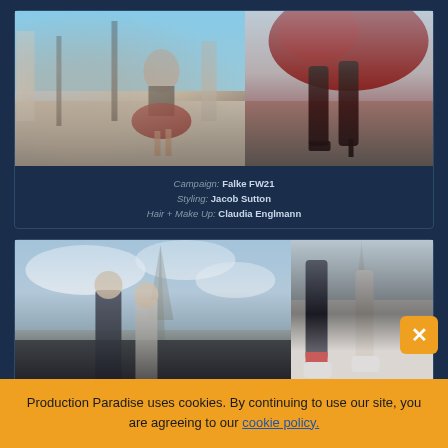[Figure (photo): Fashion campaign photo (Falke FW21): left image shows a woman in a black top and red ruffled skirt running on a Paris bridge with ornate lamp posts and columns; right image is a close-up of her legs and red ruffled skirt with black high heels on the same bridge.]
Campaign: Falke FW21
Styling: Jacob Sutton
Hair + Make Up: Claudia Englmann
[Figure (photo): Fashion campaign photo: left image shows a man in dark clothes and a woman in a light dress standing in front of the Eiffel Tower in Paris; right image is a close-up of their legs — man in black trousers with red socks and white sneakers, woman in a white/grey dress with white shoes — Eiffel Tower visible in background.]
Production Paradise uses cookies. By continuing to use our site, you are agreeing to our cookie policy.